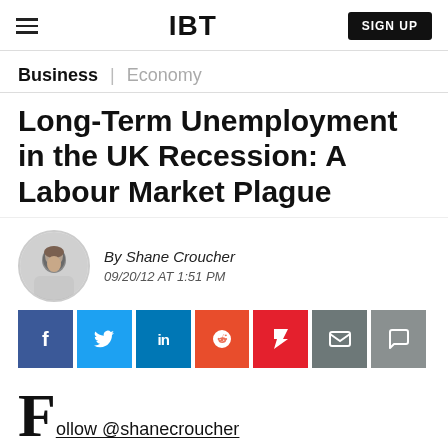IBT | SIGN UP
Business | Economy
Long-Term Unemployment in the UK Recession: A Labour Market Plague
By Shane Croucher
09/20/12 AT 1:51 PM
Follow @shanecroucher